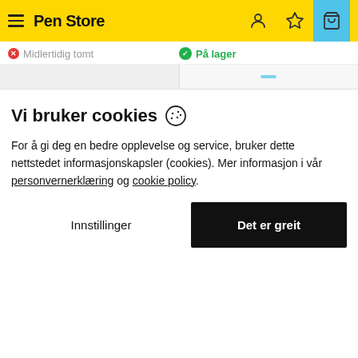Pen Store
Midlertidig tomt
På lager
Vi bruker cookies 🍪
For å gi deg en bedre opplevelse og service, bruker dette nettstedet informasjonskapsler (cookies). Mer informasjon i vår personvernerklæring og cookie policy.
Innstillinger
Det er greit